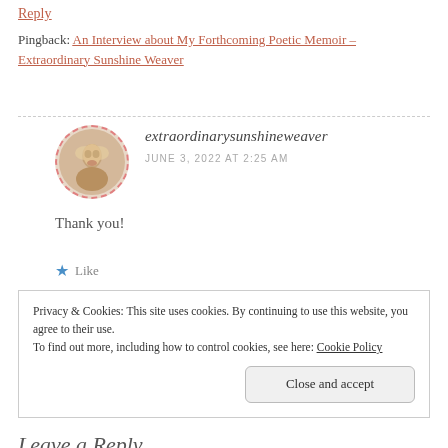Reply
Pingback: An Interview about My Forthcoming Poetic Memoir – Extraordinary Sunshine Weaver
[Figure (photo): Circular avatar photo of a woman with light hair, bordered by a dashed pink circle]
extraordinarysunshineweaver
JUNE 3, 2022 AT 2:25 AM
Thank you!
Like
Privacy & Cookies: This site uses cookies. By continuing to use this website, you agree to their use. To find out more, including how to control cookies, see here: Cookie Policy
Close and accept
Leave a Reply